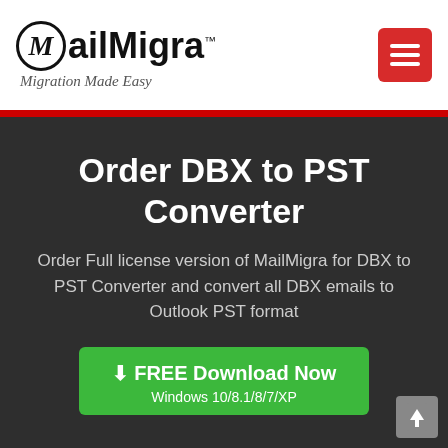MailMigra™ Migration Made Easy
Order DBX to PST Converter
Order Full license version of MailMigra for DBX to PST Converter and convert all DBX emails to Outlook PST format
FREE Download Now
Windows 10/8.1/8/7/XP